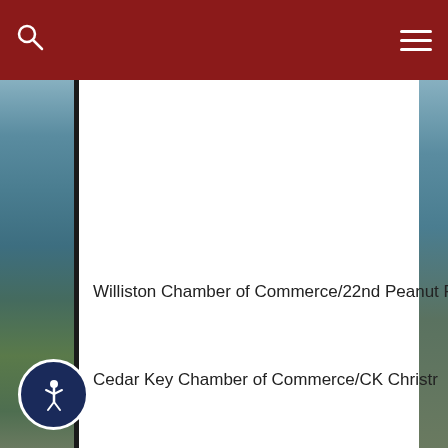[Figure (photo): Background photo showing a waterway with boats and marsh vegetation, with dark vertical divider on left side]
Williston Chamber of Commerce/22nd Peanut Fe
Cedar Key Chamber of Commerce/CK Christr
[Figure (other): Accessibility button with wheelchair/person icon at bottom left]